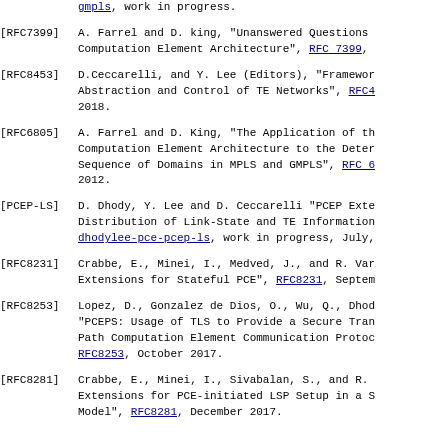gmpls, work in progress.
[RFC7399] A. Farrel and D. king, "Unanswered Questions Computation Element Architecture", RFC 7399,
[RFC8453] D.Ceccarelli, and Y. Lee (Editors), "Framework Abstraction and Control of TE Networks", RFC4 2018.
[RFC6805] A. Farrel and D. King, "The Application of th Computation Element Architecture to the Deter Sequence of Domains in MPLS and GMPLS", RFC 6 2012.
[PCEP-LS] D. Dhody, Y. Lee and D. Ceccarelli "PCEP Exte Distribution of Link-State and TE Information dhodylee-pce-pcep-ls, work in progress, July,
[RFC8231] Crabbe, E., Minei, I., Medved, J., and R. Var Extensions for Stateful PCE", RFC8231, Septem
[RFC8253] Lopez, D., Gonzalez de Dios, O., Wu, Q., Dhod "PCEPS: Usage of TLS to Provide a Secure Tran Path Computation Element Communication Protoc RFC8253, October 2017.
[RFC8281] Crabbe, E., Minei, I., Sivabalan, S., and R. Extensions for PCE-initiated LSP Setup in a S Model", RFC8281, December 2017.